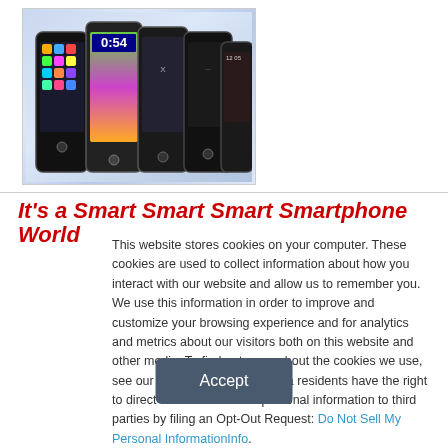[Figure (photo): A group of smartphones displayed together including iPhone and various Android devices against a light blue gradient background]
It's a Smart Smart Smart Smartphone World
This website stores cookies on your computer. These cookies are used to collect information about how you interact with our website and allow us to remember you. We use this information in order to improve and customize your browsing experience and for analytics and metrics about our visitors both on this website and other media. To find out more about the cookies we use, see our Privacy Policy. California residents have the right to direct us not to sell their personal information to third parties by filing an Opt-Out Request: Do Not Sell My Personal Info.